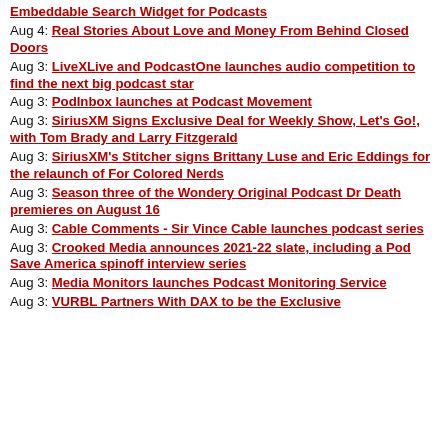Embeddable Search Widget for Podcasts
Aug 4: Real Stories About Love and Money From Behind Closed Doors
Aug 3: LiveXLive and PodcastOne launches audio competition to find the next big podcast star
Aug 3: PodInbox launches at Podcast Movement
Aug 3: SiriusXM Signs Exclusive Deal for Weekly Show, Let’s Go!, with Tom Brady and Larry Fitzgerald
Aug 3: SiriusXM’s Stitcher signs Brittany Luse and Eric Eddings for the relaunch of For Colored Nerds
Aug 3: Season three of the Wondery Original Podcast Dr Death premieres on August 16
Aug 3: Cable Comments - Sir Vince Cable launches podcast series
Aug 3: Crooked Media announces 2021-22 slate, including a Pod Save America spinoff interview series
Aug 3: Media Monitors launches Podcast Monitoring Service
Aug 3: VURBL Partners With DAX to be the Exclusive